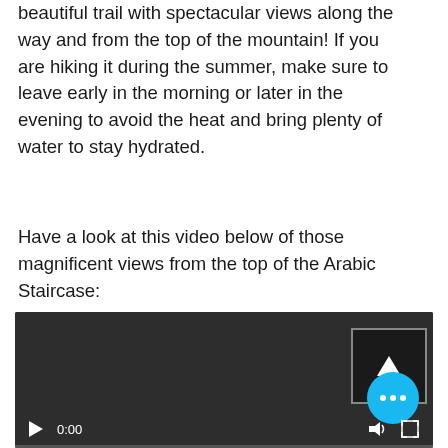beautiful trail with spectacular views along the way and from the top of the mountain! If you are hiking it during the summer, make sure to leave early in the morning or later in the evening to avoid the heat and bring plenty of water to stay hydrated.
Have a look at this video below of those magnificent views from the top of the Arabic Staircase:
[Figure (screenshot): Embedded video player with dark background, showing a video at 0:00 timestamp. Controls include a play button, time display (0:00), volume icon, and fullscreen icon. An upward arrow button is visible in the upper right area, and a blue circular button with three dots (more options) is in the lower right corner. A progress bar is at the bottom.]